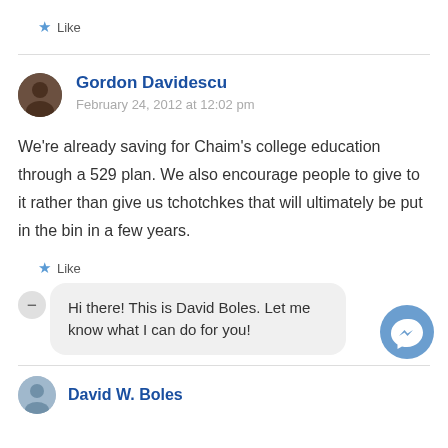★ Like
Gordon Davidescu
February 24, 2012 at 12:02 pm

We're already saving for Chaim's college education through a 529 plan. We also encourage people to give to it rather than give us tchotchkes that will ultimately be put in the bin in a few years.
★ Like
Hi there! This is David Boles. Let me know what I can do for you!
David W. Boles